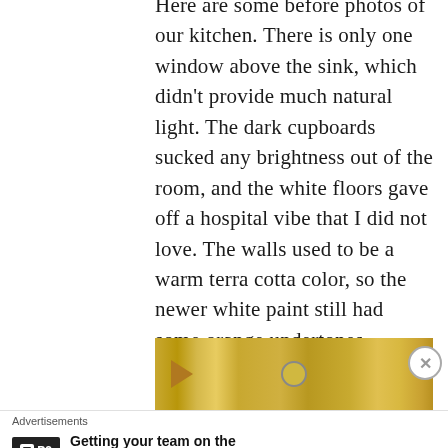Here are some before photos of our kitchen. There is only one window above the sink, which didn't provide much natural light. The dark cupboards sucked any brightness out of the room, and the white floors gave off a hospital vibe that I did not love. The walls used to be a warm terra cotta color, so the newer white paint still had some orange undertones.
[Figure (photo): Before photo of a kitchen interior showing warm yellowish lighting, overhead cabinets, and a clock on the wall. A play button arrow is visible on the left side.]
Advertisements
[Figure (other): Advertisement banner for P2: Getting your team on the same page is easy. And free. Logo shows a white square icon with P2 text on a black background.]